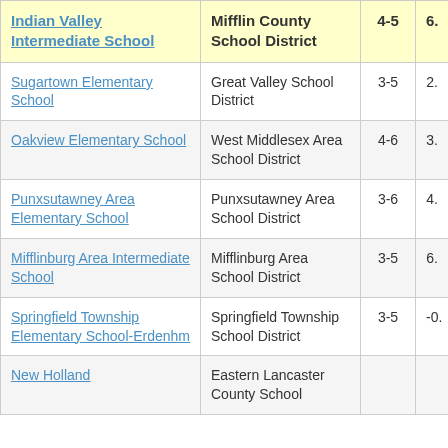| School | District | Grades |  |
| --- | --- | --- | --- |
| Indian Valley Intermediate School | Mifflin County School District | 4-5 | 6. |
| Sugartown Elementary School | Great Valley School District | 3-5 | 2. |
| Oakview Elementary School | West Middlesex Area School District | 4-6 | 3. |
| Punxsutawney Area Elementary School | Punxsutawney Area School District | 3-6 | 4. |
| Mifflinburg Area Intermediate School | Mifflinburg Area School District | 3-5 | 6. |
| Springfield Township Elementary School-Erdenhm | Springfield Township School District | 3-5 | -0. |
| New Holland | Eastern Lancaster County School... |  |  |